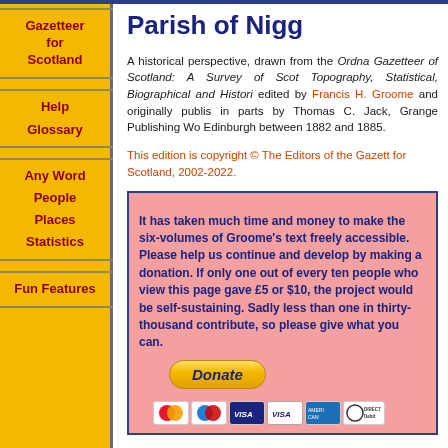Gazetteer for Scotland
Help
Glossary
Any Word
People
Places
Statistics
Fun Features
Parish of Nigg
A historical perspective, drawn from the Ordna Gazetteer of Scotland: A Survey of Scot Topography, Statistical, Biographical and Histori edited by Francis H. Groome and originally publis in parts by Thomas C. Jack, Grange Publishing Wo Edinburgh between 1882 and 1885.
This edition is copyright © The Editors of the Gazett for Scotland, 2002-2022.
It has taken much time and money to make the six-volumes of Groome's text freely accessible. Please help us continue and develop by making a donation. If only one out of every ten people who view this page gave £5 or $10, the project would be self-sustaining. Sadly less than one in thirty-thousand contribute, so please give what you can.